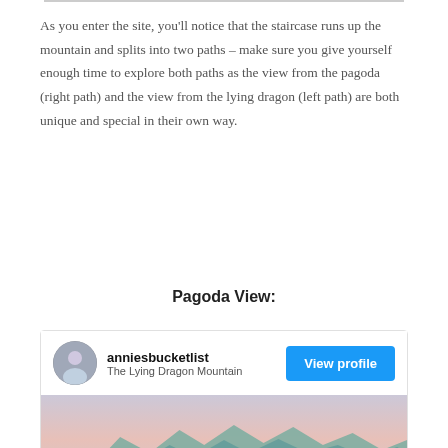As you enter the site, you'll notice that the staircase runs up the mountain and splits into two paths – make sure you give yourself enough time to explore both paths as the view from the pagoda (right path) and the view from the lying dragon (left path) are both unique and special in their own way.
Pagoda View:
[Figure (screenshot): Instagram-style embedded post card with avatar, username 'anniesbucketlist', location 'The Lying Dragon Mountain', a blue 'View profile' button, and a landscape photo showing mountains at dusk with pink and teal hues.]